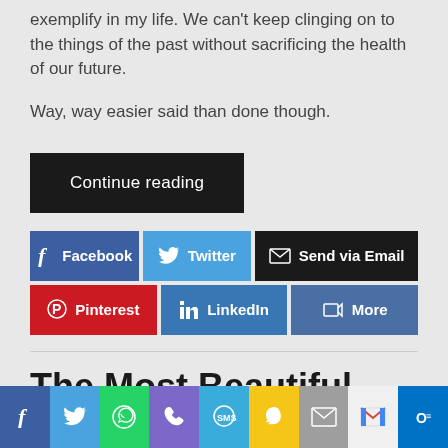exemplify in my life. We can't keep clinging on to the things of the past without sacrificing the health of our future.
Way, way easier said than done though.
Continue reading
[Figure (other): Social share buttons: Facebook, Twitter, Send via Email, Pinterest, LinkedIn, More]
The Most Beautiful Places I've Ever Been To (So Far)
[Figure (other): Bottom mobile share bar with icons: Facebook, Twitter, WhatsApp, Phone, SMS, Snapchat, Email, Gmail, Outlook]